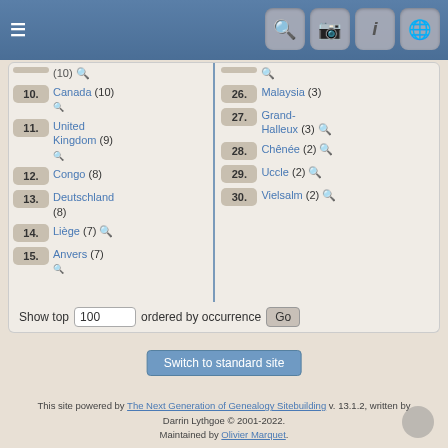Navigation header with menu and icons
(10) [search icon]
10. Canada (10) [search icon]
11. United Kingdom (9) [search icon]
12. Congo (8)
13. Deutschland (8)
14. Liège (7) [search icon]
15. Anvers (7) [search icon]
26. Malaysia (3)
27. Grand-Halleux (3) [search icon]
28. Chênée (2) [search icon]
29. Uccle (2) [search icon]
30. Vielsalm (2) [search icon]
Show top 100 ordered by occurrence Go
Switch to standard site
This site powered by The Next Generation of Genealogy Sitebuilding v. 13.1.2, written by Darrin Lythgoe © 2001-2022. Maintained by Olivier Marquet.